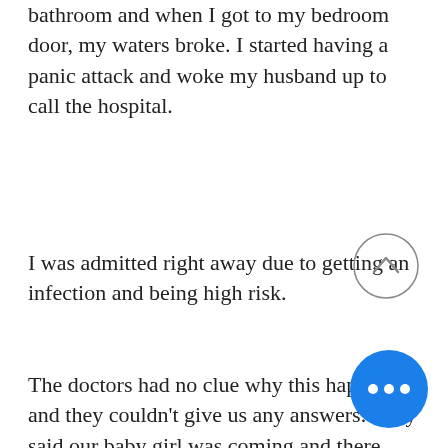midnight, I woke up to go the bathroom and when I got to my bedroom door, my waters broke. I started having a panic attack and woke my husband up to call the hospital.
I was admitted right away due to getting an infection and being high risk.
The doctors had no clue why this happened and they couldn't give us any answers. They said our baby girl was coming and there was nothing they could do. They said that even if she showed signs of life, they could only help her if she had been 24 weeks.
I tried to hold her in for another week as the days went by her movements slowed. On the third day I felt...